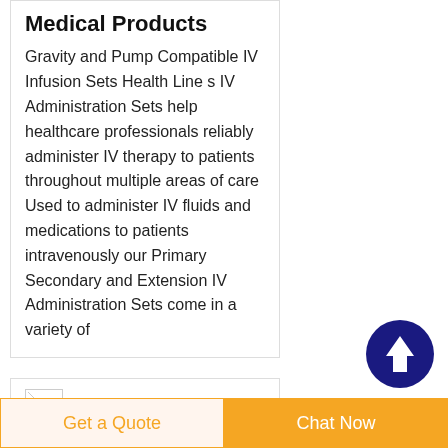Medical Products
Gravity and Pump Compatible IV Infusion Sets Health Line s IV Administration Sets help healthcare professionals reliably administer IV therapy to patients throughout multiple areas of care Used to administer IV fluids and medications to patients intravenously our Primary Secondary and Extension IV Administration Sets come in a variety of
[Figure (other): Dark blue circular button with white upward arrow, used as a scroll-to-top button]
Needle Free
Get a Quote
Chat Now